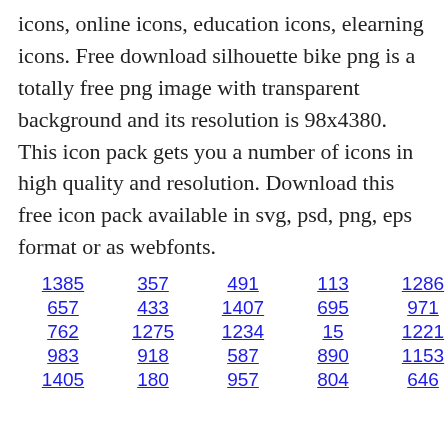icons, online icons, education icons, elearning icons. Free download silhouette bike png is a totally free png image with transparent background and its resolution is 98x4380. This icon pack gets you a number of icons in high quality and resolution. Download this free icon pack available in svg, psd, png, eps format or as webfonts.
1385  357  491  113  1286  1164
657  433  1407  695  971  846  20
762  1275  1234  15  1221  934
983  918  587  890  1153  15  990
1405  180  957  804  646